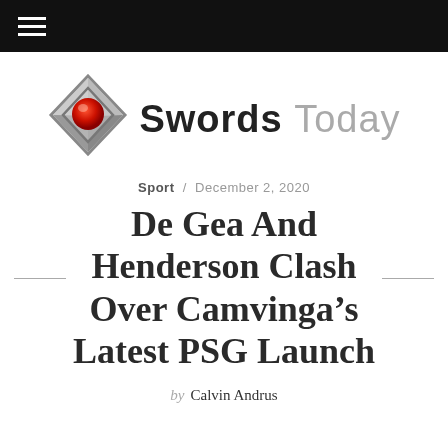≡
[Figure (logo): Swords Today logo: a diamond-shaped metallic icon with a red sphere in the center, beside the text 'Swords Today' with 'Swords' in dark and 'Today' in gray.]
Sport / December 2, 2020
De Gea And Henderson Clash Over Camvinga's Latest PSG Launch
by Calvin Andrus